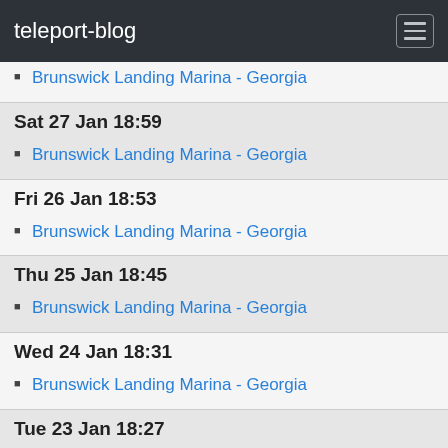teleport-blog
Brunswick Landing Marina - Georgia
Sat 27 Jan 18:59
Brunswick Landing Marina - Georgia
Fri 26 Jan 18:53
Brunswick Landing Marina - Georgia
Thu 25 Jan 18:45
Brunswick Landing Marina - Georgia
Wed 24 Jan 18:31
Brunswick Landing Marina - Georgia
Tue 23 Jan 18:27
Brunswick Landing Marina - Georgia
Mon 22 Jan 18:23
Brunswick Landing Marina - Georgia
Sun 21 Jan 18:19
Brunswick Landing Marina - Georgia